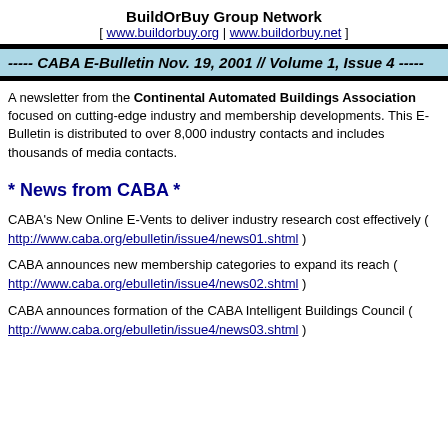BuildOrBuy Group Network [ www.buildorbuy.org | www.buildorbuy.net ]
----- CABA E-Bulletin Nov. 19, 2001 // Volume 1, Issue 4 -----
A newsletter from the Continental Automated Buildings Association focused on cutting-edge industry and membership developments. This E-Bulletin is distributed to over 8,000 industry contacts and includes thousands of media contacts.
* News from CABA *
CABA's New Online E-Vents to deliver industry research cost effectively ( http://www.caba.org/ebulletin/issue4/news01.shtml )
CABA announces new membership categories to expand its reach ( http://www.caba.org/ebulletin/issue4/news02.shtml )
CABA announces formation of the CABA Intelligent Buildings Council ( http://www.caba.org/ebulletin/issue4/news03.shtml )